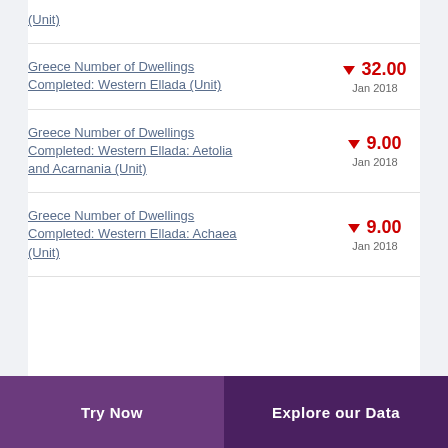(Unit)
Greece Number of Dwellings Completed: Western Ellada (Unit) ▼ 32.00 Jan 2018
Greece Number of Dwellings Completed: Western Ellada: Aetolia and Acarnania (Unit) ▼ 9.00 Jan 2018
Greece Number of Dwellings Completed: Western Ellada: Achaea (Unit) ▼ 9.00 Jan 2018
Try Now   Explore our Data